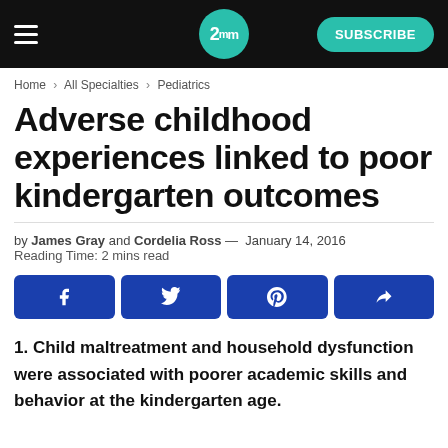2mm | SUBSCRIBE
Home > All Specialties > Pediatrics
Adverse childhood experiences linked to poor kindergarten outcomes
by James Gray and Cordelia Ross — January 14, 2016
Reading Time: 2 mins read
[Figure (other): Social share buttons: Facebook, Twitter, Pinterest, Share]
1. Child maltreatment and household dysfunction were associated with poorer academic skills and behavior at the kindergarten age.